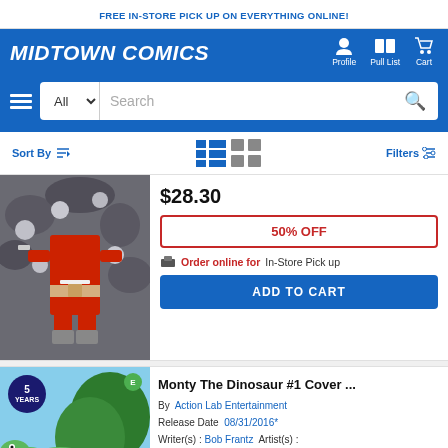FREE IN-STORE PICK UP ON EVERYTHING ONLINE!
[Figure (logo): Midtown Comics logo in white italic bold text on blue background, with Profile, Pull List, Cart icons]
[Figure (screenshot): Search bar with All dropdown, Search placeholder text and magnifying glass icon]
Sort By | Filters
[Figure (photo): Comic book cover showing character in red suit with knife, partial view]
$28.30
50% OFF
Order online for In-Store Pick up
ADD TO CART
[Figure (photo): Monty The Dinosaur comic cover showing green dinosaur, with 5 Years badge and E rating badge]
Monty The Dinosaur #1 Cover ...
By Action Lab Entertainment
Release Date 08/31/2016*
Writer(s) : Bob Frantz  Artist(s) :
Jean Franco
Near Mint - $4.65